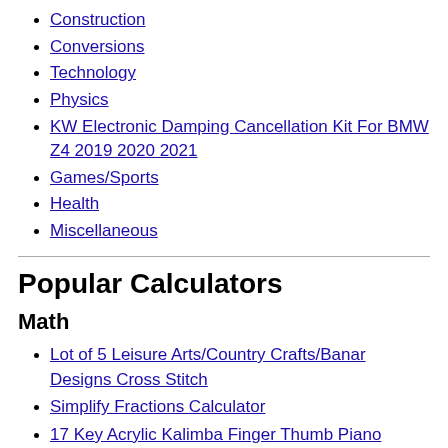Construction
Conversions
Technology
Physics
KW Electronic Damping Cancellation Kit For BMW Z4 2019 2020 2021
Games/Sports
Health
Miscellaneous
Popular Calculators
Math
Lot of 5 Leisure Arts/Country Crafts/Banar Designs Cross Stitch
Simplify Fractions Calculator
17 Key Acrylic Kalimba Finger Thumb Piano Keyboard Musical Instr
Business
Numbers to Words Converter